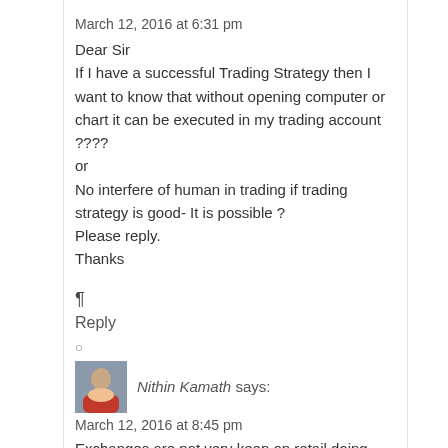March 12, 2016 at 6:31 pm
Dear Sir
If I have a successful Trading Strategy then I want to know that without opening computer or chart it can be executed in my trading account ????
or
No interfere of human in trading if trading strategy is good- It is possible ?
Please reply.
Thanks
¶
Reply
○
Nithin Kamath says:
March 12, 2016 at 8:45 pm
Exchanges are not very keen on retail doing